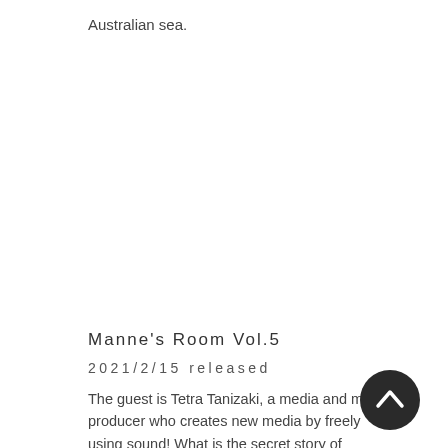Australian sea.
Manne's Room Vol.5
2021/2/15 released
The guest is Tetra Tanizaki, a media and music producer who creates new media by freely using sound! What is the secret story of Singing Lin's CD production, physical, mental, social and soul health? What is World Shift?